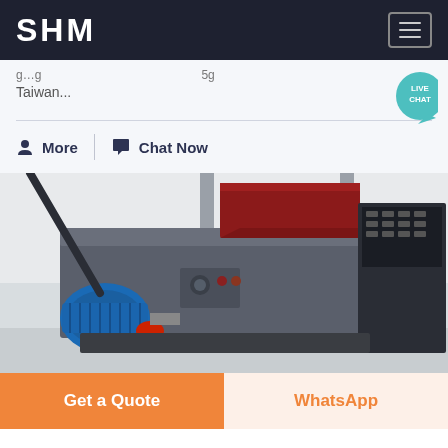SHM
Taiwan...
More  |  Chat Now
[Figure (photo): Industrial machinery - a large grey metal shredder or crusher machine with a blue electric motor attached, red-trimmed hopper at the back, and electrical control panel on the right, inside an industrial facility.]
Get a Quote
WhatsApp